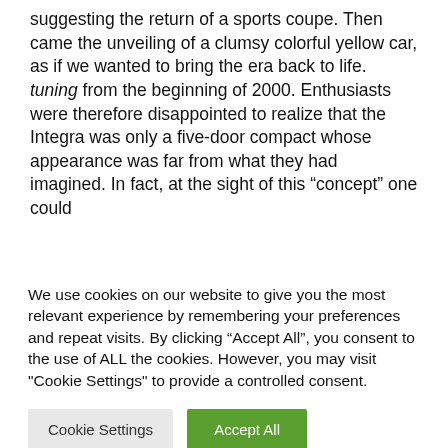suggesting the return of a sports coupe. Then came the unveiling of a clumsy colorful yellow car, as if we wanted to bring the era back to life. tuning from the beginning of 2000. Enthusiasts were therefore disappointed to realize that the Integra was only a five-door compact whose appearance was far from what they had imagined. In fact, at the sight of this “concept” one could [text cut off]
We use cookies on our website to give you the most relevant experience by remembering your preferences and repeat visits. By clicking “Accept All”, you consent to the use of ALL the cookies. However, you may visit "Cookie Settings" to provide a controlled consent.